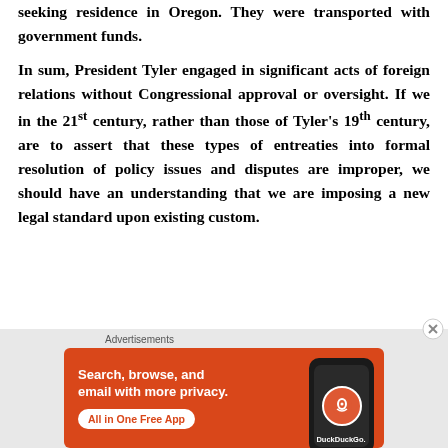seeking residence in Oregon. They were transported with government funds.
In sum, President Tyler engaged in significant acts of foreign relations without Congressional approval or oversight. If we in the 21st century, rather than those of Tyler's 19th century, are to assert that these types of entreaties into formal resolution of policy issues and disputes are improper, we should have an understanding that we are imposing a new legal standard upon existing custom.
[Figure (other): DuckDuckGo advertisement banner: 'Search, browse, and email with more privacy. All in One Free App' with phone graphic showing DuckDuckGo logo]